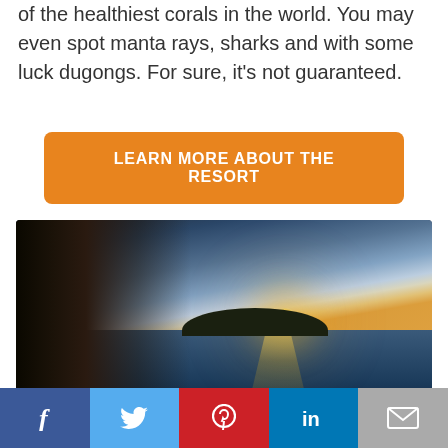of the healthiest corals in the world. You may even spot manta rays, sharks and with some luck dugongs. For sure, it's not guaranteed.
LEARN MORE ABOUT THE RESORT
[Figure (photo): Overwater bungalow deck at sunset with calm ocean and island silhouette in background. Lounge chairs visible in foreground.]
Social share bar with Facebook, Twitter, Pinterest, LinkedIn, Email buttons